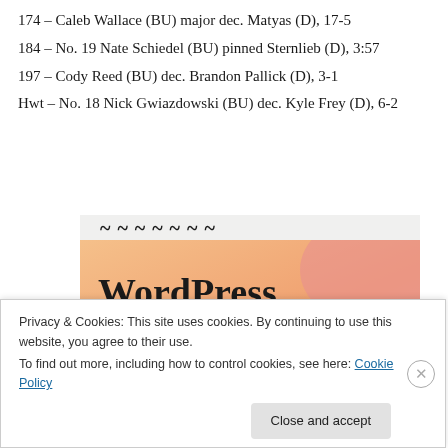174 – Caleb Wallace (BU) major dec. Matyas (D), 17-5
184 – No. 19 Nate Schiedel (BU) pinned Sternlieb (D), 3:57
197 – Cody Reed (BU) dec. Brandon Pallick (D), 3-1
Hwt – No. 18 Nick Gwiazdowski (BU) dec. Kyle Frey (D), 6-2
[Figure (screenshot): Partial WordPress advertisement banner with text 'WordPress in the back.' on an orange/peach gradient background, cropped at top showing partial text]
Privacy & Cookies: This site uses cookies. By continuing to use this website, you agree to their use.
To find out more, including how to control cookies, see here: Cookie Policy